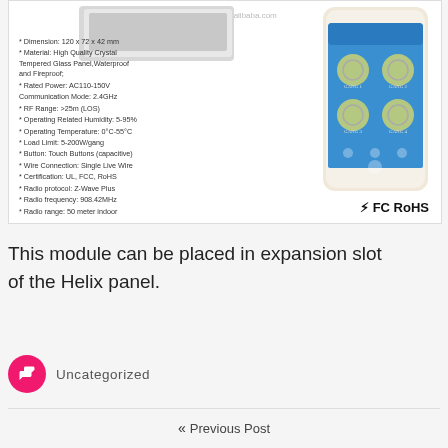[Figure (photo): Product listing image showing a smart touch switch with specifications text on left and a smartphone app screenshot on right, plus certification logos (UL, FC, RoHS). Specifications: Dimension 120x72x42mm, High Quality Crystal Tempered Glass Panel Waterproof and Fireproof, Rated Power AC110-150V, Communication Mode 2.4GHz, RF Range >25m (LOS), Operating Related Humidity 5-95%, Operating Temperature 0°C-55°C, Load Limit 5-200W/gang, Button Touch Buttons (capacitive), Wire Connection Single Live Wire, Certification UL FCC RoHS, Radio protocol Z-Wave Plus, Radio frequency 908.42MHz, Radio range 50 meter indoor.]
This module can be placed in expansion slot of the Helix panel.
Uncategorized
« Previous Post